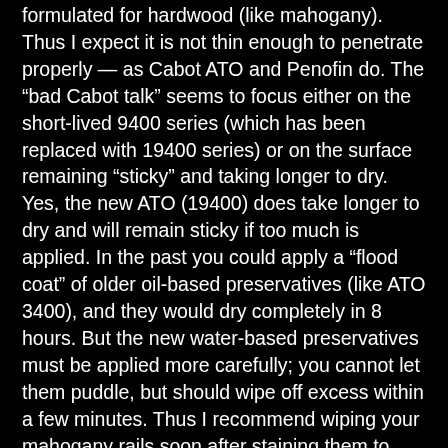formulated for hardwood (like mahogany). Thus I expect it is not thin enough to penetrate properly — as Cabot ATO and Penofin do. The “bad Cabot talk” seems to focus either on the short-lived 9400 series (which has been replaced with 19400 series) or on the surface remaining “sticky” and taking longer to dry. Yes, the new ATO (19400) does take longer to dry and will remain sticky if too much is applied. In the past you could apply a “flood coat” of older oil-based preservatives (like ATO 3400), and they would dry completely in 8 hours. But the new water-based preservatives must be applied more carefully; you cannot let them puddle, but should wipe off excess within a few minutes. Thus I recommend wiping your mahogany rails soon after staining them to remove any excess.
Loading...